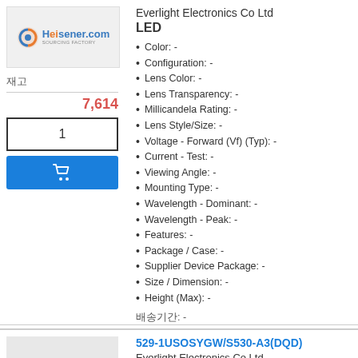[Figure (logo): Heisener.com logo with circular icon in orange and blue]
재고
7,614
1
Everlight Electronics Co Ltd
LED
Color: -
Configuration: -
Lens Color: -
Lens Transparency: -
Millicandela Rating: -
Lens Style/Size: -
Voltage - Forward (Vf) (Typ): -
Current - Test: -
Viewing Angle: -
Mounting Type: -
Wavelength - Dominant: -
Wavelength - Peak: -
Features: -
Package / Case: -
Supplier Device Package: -
Size / Dimension: -
Height (Max): -
배송기간: -
529-1USOSYGW/S530-A3(DQD)
Everlight Electronics Co Ltd